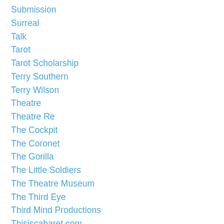Submission
Surreal
Talk
Tarot
Tarot Scholarship
Terry Southern
Terry Wilson
Theatre
Theatre Re
The Cockpit
The Coronet
The Gorilla
The Little Soldiers
The Theatre Museum
The Third Eye
Third Mind Productions
Thisiscabaret.com
Time Out
Timothy Leary
Tom Cottey
Tom Hardy